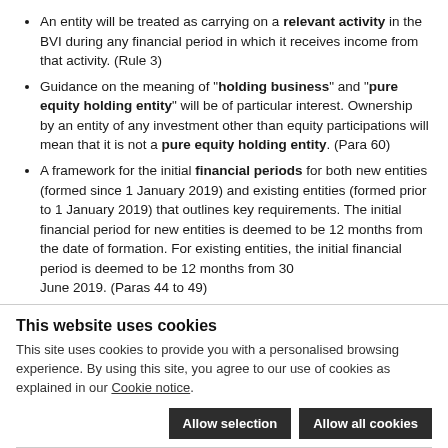An entity will be treated as carrying on a relevant activity in the BVI during any financial period in which it receives income from that activity. (Rule 3)
Guidance on the meaning of "holding business" and "pure equity holding entity" will be of particular interest. Ownership by an entity of any investment other than equity participations will mean that it is not a pure equity holding entity. (Para 60)
A framework for the initial financial periods for both new entities (formed since 1 January 2019) and existing entities (formed prior to 1 January 2019) that outlines key requirements. The initial financial period for new entities is deemed to be 12 months from the date of formation. For existing entities, the initial financial period is deemed to be 12 months from 30 June 2019. (Paras 44 to 49)
This website uses cookies
This site uses cookies to provide you with a personalised browsing experience. By using this site, you agree to our use of cookies as explained in our Cookie notice.